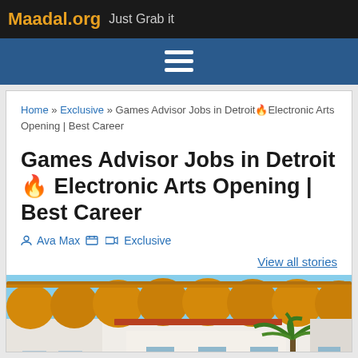Maadal.org Just Grab it
[Figure (screenshot): Navigation hamburger menu icon (three white horizontal lines) on a dark blue background]
Home » Exclusive » Games Advisor Jobs in Detroit🔥Electronic Arts Opening | Best Career
Games Advisor Jobs in Detroit🔥Electronic Arts Opening | Best Career
Ava Max  Exclusive
View all stories
[Figure (photo): Outdoor photo showing yellow/orange awnings or canopies over a white building with a palm tree and blue sky in the background]